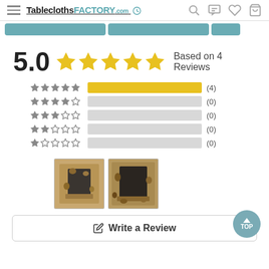TableclothsFACTORY.com
5.0 — Based on 4 Reviews
[Figure (bar-chart): Star rating distribution]
[Figure (photo): Two review photos showing tablecloth products]
Write a Review